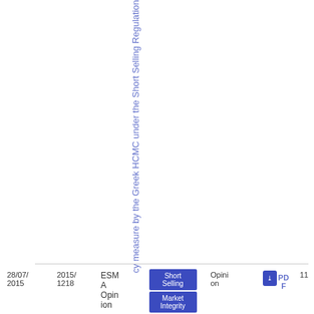cy measure by the Greek HCMC under the Short Selling Regulation
| Date | Reference | Authority | Tag | Type | Document | No |
| --- | --- | --- | --- | --- | --- | --- |
| 28/07/2015 | 2015/1218 | ESMA Opinion | Short Selling | Market Integrity | Opinion | PDF | 11 |